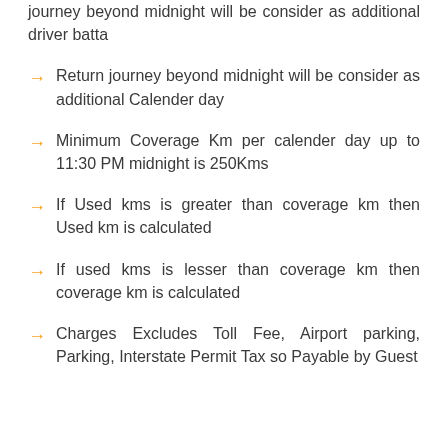journey beyond midnight will be consider as additional driver batta
Return journey beyond midnight will be consider as additional Calender day
Minimum Coverage Km per calender day up to 11:30 PM midnight is 250Kms
If Used kms is greater than coverage km then Used km is calculated
If used kms is lesser than coverage km then coverage km is calculated
Charges Excludes Toll Fee, Airport parking, Parking, Interstate Permit Tax so Payable by Guest